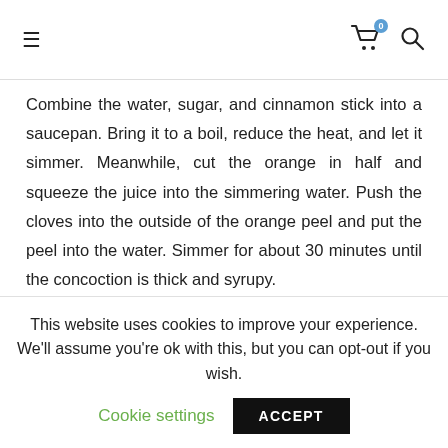≡  [cart icon with 0 badge]  [search icon]
Combine the water, sugar, and cinnamon stick into a saucepan. Bring it to a boil, reduce the heat, and let it simmer. Meanwhile, cut the orange in half and squeeze the juice into the simmering water. Push the cloves into the outside of the orange peel and put the peel into the water. Simmer for about 30 minutes until the concoction is thick and syrupy.
Next, pour in the bottle of wine and reduce the temperature to a gentle steam. Remove the clove-laden
This website uses cookies to improve your experience. We'll assume you're ok with this, but you can opt-out if you wish.
Cookie settings   ACCEPT